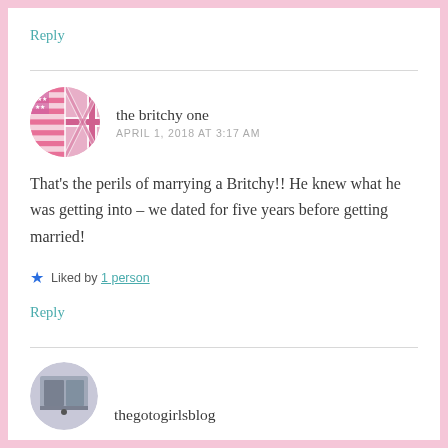Reply
the britchy one
APRIL 1, 2018 AT 3:17 AM
That's the perils of marrying a Britchy!! He knew what he was getting into – we dated for five years before getting married!
Liked by 1 person
Reply
thegotogirlsblog